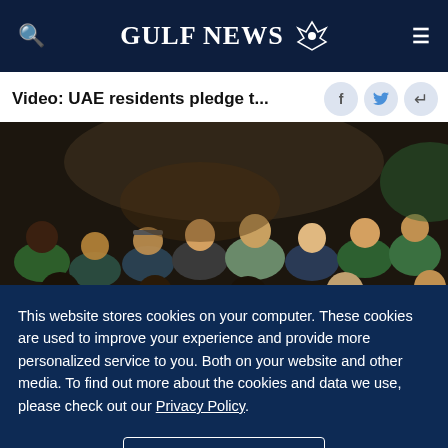GULF NEWS
Video: UAE residents pledge t...
[Figure (photo): Audience viewed from behind, seated in a darkened venue, attending the 'Conscious Planet Movement to Save Soil' event in Dubai. People are wearing colorful clothing including green and teal tops.]
Sadhguru addressing the crowd at the 'Conscious Planet Movement to Save Soil' event in Dubai on Friday.
Image Credit: Virendra Saklani/Gulf News
This website stores cookies on your computer. These cookies are used to improve your experience and provide more personalized service to you. Both on your website and other media. To find out more about the cookies and data we use, please check out our Privacy Policy.